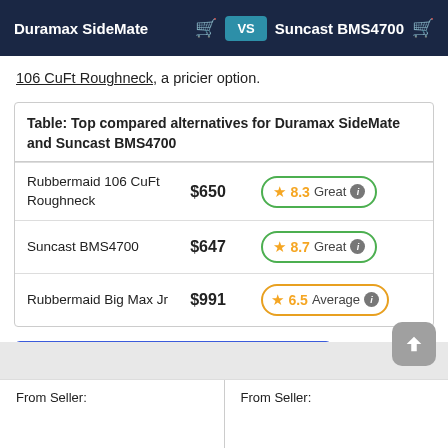Duramax SideMate VS Suncast BMS4700
106 CuFt Roughneck, a pricier option.
|  |  |  |
| --- | --- | --- |
| Rubbermaid 106 CuFt Roughneck | $650 | 8.3 Great |
| Suncast BMS4700 | $647 | 8.7 Great |
| Rubbermaid Big Max Jr | $991 | 6.5 Average |
Find the best shed in Shed Finder »
From Seller:
From Seller: